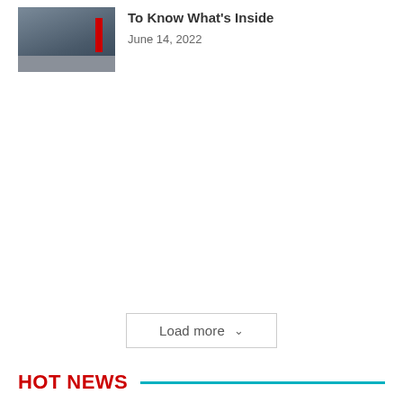[Figure (photo): Thumbnail image of a building exterior with a red vertical bar element and a road in the foreground]
To Know What's Inside
June 14, 2022
Load more
HOT NEWS